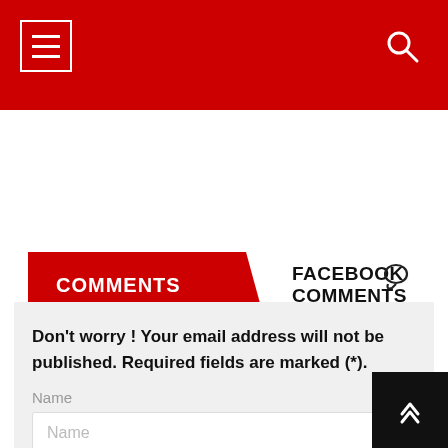[Figure (screenshot): Red navigation bar with hamburger menu icon on the left and search icon on the right]
COMMENTS | FACEBOOK COMMENTS
LEAVE A COMMENT
Don't worry ! Your email address will not be published. Required fields are marked (*).
Name
Name